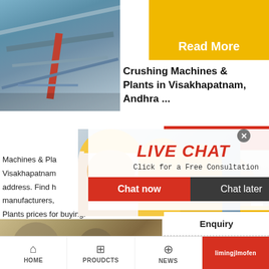[Figure (photo): Industrial crushing machinery with pipes and metal framework, blue-grey tones]
Read More
Crushing Machines & Plants in Visakhapatnam, Andhra ...
24Hrs Online
[Figure (photo): Live chat popup overlay showing workers in yellow hard hats and a smiling woman with headset. Text: LIVE CHAT, Click for a Free Consultation, Chat now, Chat later]
Machines & Plants in Visakhapatnam, address. Find h manufacturers, Plants prices for buying.
[Figure (photo): Customer support woman wearing headset, smiling]
Need questions & suggestion?
Chat Now
Enquiry
limingjlmofen
[Figure (photo): Quarry or mining site with rocks and earth]
HOME   PROUDCTS   NEWS   limingjlmofen